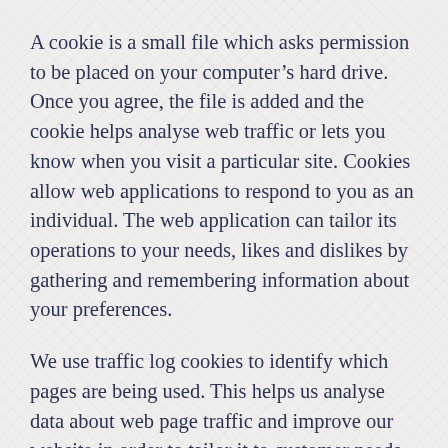A cookie is a small file which asks permission to be placed on your computer’s hard drive. Once you agree, the file is added and the cookie helps analyse web traffic or lets you know when you visit a particular site. Cookies allow web applications to respond to you as an individual. The web application can tailor its operations to your needs, likes and dislikes by gathering and remembering information about your preferences.
We use traffic log cookies to identify which pages are being used. This helps us analyse data about web page traffic and improve our website in order to tailor it to customer needs. We only use this information for statistical analysis purposes and then the data is removed from the system.
Overall, cookies help us provide you with a better website, by enabling us to monitor which pages you find useful and which you do not. A cookie in no way